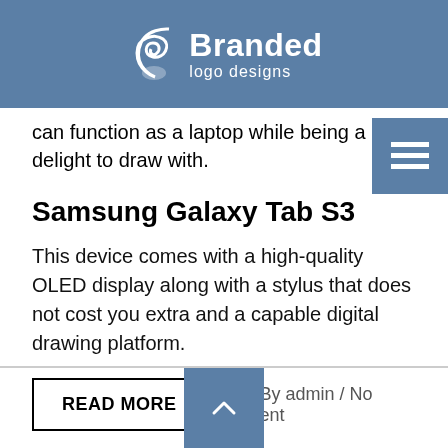Branded logo designs
can function as a laptop while being a delight to draw with.
Samsung Galaxy Tab S3
This device comes with a high-quality OLED display along with a stylus that does not cost you extra and a capable digital drawing platform.
READ MORE
018 / By admin / No Comment